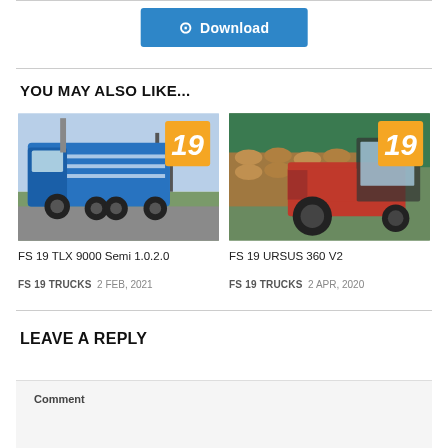[Figure (other): Blue download button with download icon]
YOU MAY ALSO LIKE...
[Figure (photo): FS19 TLX 9000 Semi blue truck with badge '19']
[Figure (photo): FS19 URSUS 360 V2 red tractor with badge '19']
FS 19 TLX 9000 Semi 1.0.2.0
FS 19 URSUS 360 V2
FS 19 TRUCKS  2 FEB, 2021
FS 19 TRUCKS  2 APR, 2020
LEAVE A REPLY
Comment